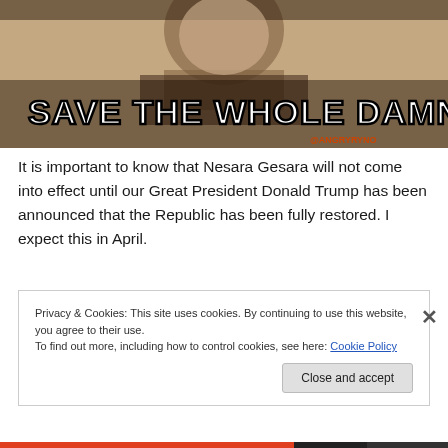[Figure (photo): Photo of a child with text overlay reading 'SAVE THE WHOLE DAMN WORLD' and '@ANGRYRYNO' watermark]
It is important to know that Nesara Gesara will not come into effect until our Great President Donald Trump has been announced that the Republic has been fully restored. I expect this in April.
Privacy & Cookies: This site uses cookies. By continuing to use this website, you agree to their use.
To find out more, including how to control cookies, see here: Cookie Policy
Close and accept